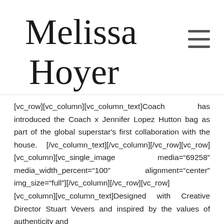Melissa Hoyer
[vc_row][vc_column][vc_column_text]Coach has introduced the Coach x Jennifer Lopez Hutton bag as part of the global superstar’s first collaboration with the house. [/vc_column_text][/vc_column][/vc_row][vc_row][vc_column][vc_single_image media="69258" media_width_percent="100" alignment="center" img_size="full"][/vc_column][/vc_row][vc_row][vc_column][vc_column_text]Designed with Creative Director Stuart Vevers and inspired by the values of authenticity and